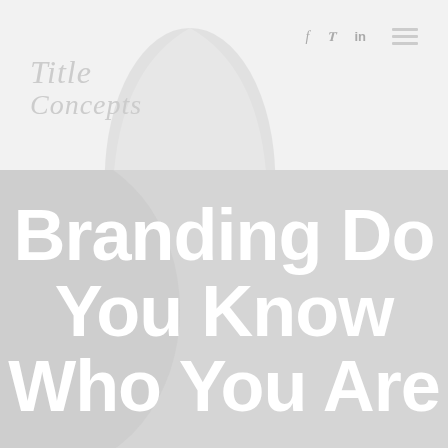Title Concepts — f  tw  in  [menu]
[Figure (logo): Title Concepts logo in script/italic font with decorative arch watermark in background]
Branding Do You Know Who You Are